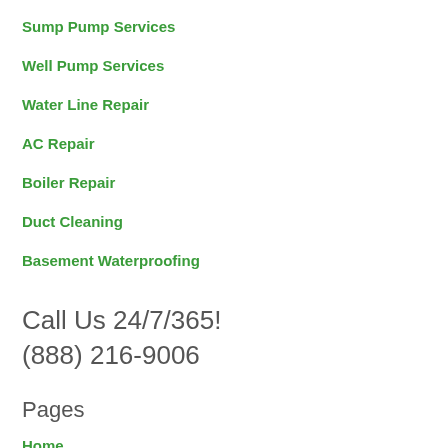Sump Pump Services
Well Pump Services
Water Line Repair
AC Repair
Boiler Repair
Duct Cleaning
Basement Waterproofing
Call Us 24/7/365!
(888) 216-9006
Pages
Home
Locations
About Us
Contact Us